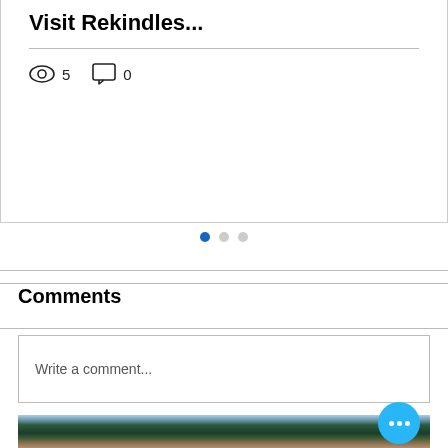Visit Rekindles...
5 views  0 comments
Comments
Write a comment...
[Figure (photo): Outdoor photo of palm trees with a building visible in the background, sky visible above.]